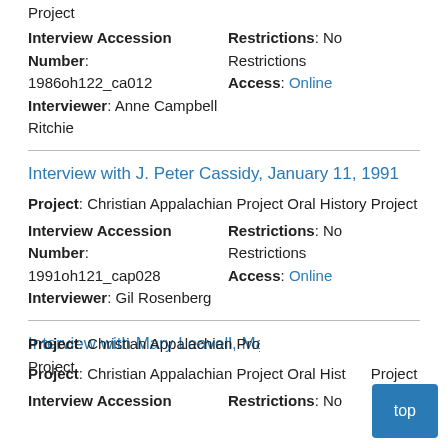Project
Interview Accession Number: 1986oh122_ca012
Interviewer: Anne Campbell Ritchie
Restrictions: No Restrictions
Access: Online
Interview with J. Peter Cassidy, January 11, 1991
Project: Christian Appalachian Project Oral History Project
Interview Accession Number: 1991oh121_cap028
Interviewer: Gil Rosenberg
Restrictions: No Restrictions
Access: Online
Interview with Mary Leavell, March 7, 1991
Project: Christian Appalachian Project Oral History Project
Interview Accession
Restrictions: No